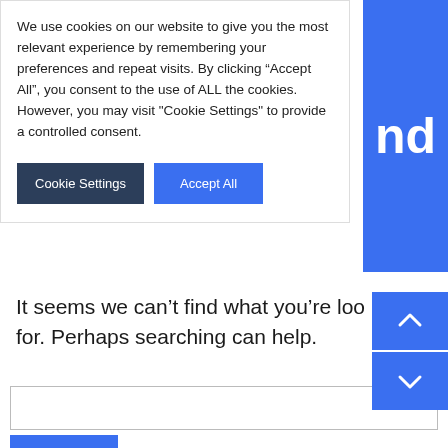We use cookies on our website to give you the most relevant experience by remembering your preferences and repeat visits. By clicking “Accept All”, you consent to the use of ALL the cookies. However, you may visit "Cookie Settings" to provide a controlled consent.
Cookie Settings | Accept All
It seems we can’t find what you’re looking for. Perhaps searching can help.
Search